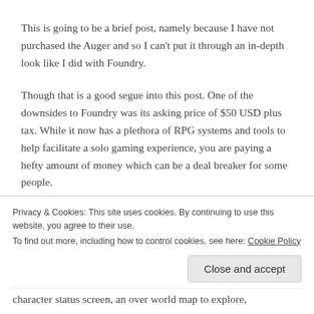This is going to be a brief post, namely because I have not purchased the Auger and so I can't put it through an in-depth look like I did with Foundry.
Though that is a good segue into this post. One of the downsides to Foundry was its asking price of $50 USD plus tax. While it now has a plethora of RPG systems and tools to help facilitate a solo gaming experience, you are paying a hefty amount of money which can be a deal breaker for some people.
Privacy & Cookies: This site uses cookies. By continuing to use this website, you agree to their use.
To find out more, including how to control cookies, see here: Cookie Policy
character status screen, an over world map to explore,